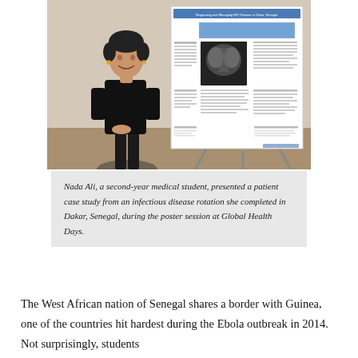[Figure (photo): A woman (Nada Ali, a second-year medical student) standing and smiling in front of a large academic research poster on an easel. The poster is titled about diagnosing and managing HIV disease in Dakar, Senegal, and includes a chest X-ray image and data tables.]
Nada Ali, a second-year medical student, presented a patient case study from an infectious disease rotation she completed in Dakar, Senegal, during the poster session at Global Health Days.
The West African nation of Senegal shares a border with Guinea, one of the countries hit hardest during the Ebola outbreak in 2014. Not surprisingly, students...